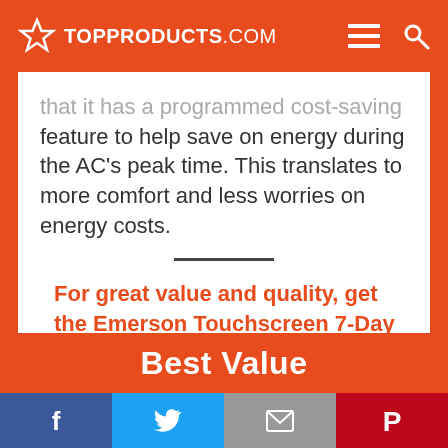TOPPRODUCTS.COM
that it has a programmed cost-saving feature to help save on energy during the AC's peak time. This translates to more comfort and less worries on energy costs.
For great value and quality, get the Emerson Touchscreen 7-Day Programmable Digital Thermostat.
Best Value
Facebook Twitter Email Pinterest